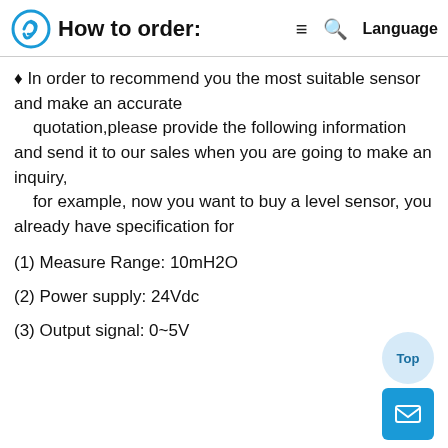How to order:
♦ In order to recommend you the most suitable sensor and make an accurate quotation,please provide the following information and send it to our sales when you are going to make an inquiry, for example, now you want to buy a level sensor, you already have specification for
(1) Measure Range: 10mH2O
(2) Power supply: 24Vdc
(3) Output signal: 0~5V